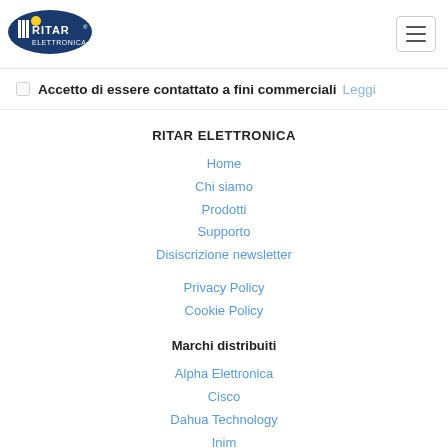[Figure (logo): Ritar Elettronica logo — dark blue oval with yellow dot and RITAR text, ELETTRONICA text below]
Accetto di essere contattato a fini commerciali Leggi
RITAR ELETTRONICA
Home
Chi siamo
Prodotti
Supporto
Disiscrizione newsletter
Privacy Policy
Cookie Policy
Marchi distribuiti
Alpha Elettronica
Cisco
Dahua Technology
Inim
Micro Tek